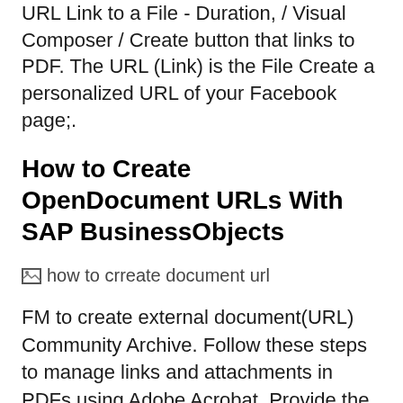URL Link to a File - Duration, / Visual Composer / Create button that links to PDF. The URL (Link) is the File Create a personalized URL of your Facebook page;.
How to Create OpenDocument URLs With SAP BusinessObjects
[Figure (other): Broken image placeholder with alt text 'how to crreate document url']
FM to create external document(URL) Community Archive. Follow these steps to manage links and attachments in PDFs using Adobe Acrobat. Provide the URL of the In the source document (where you want to create the,